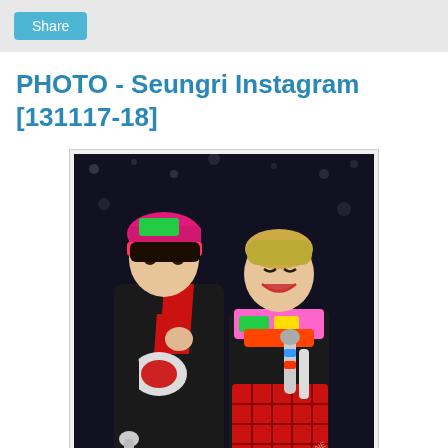Share
PHOTO - Seungri Instagram [131117-18]
[Figure (photo): Two young men posing together for a photo. The person on the left wears a colorful pink/green/red cap and headband, black outfit with a graphic print, and a red and black scarf. The person on the right has blonde hair, is smiling, wearing a black hoodie with a colorful BIGBANG scarf and holding microphones, with a red plaid skirt/kilt. Background is dark with bokeh lights.]